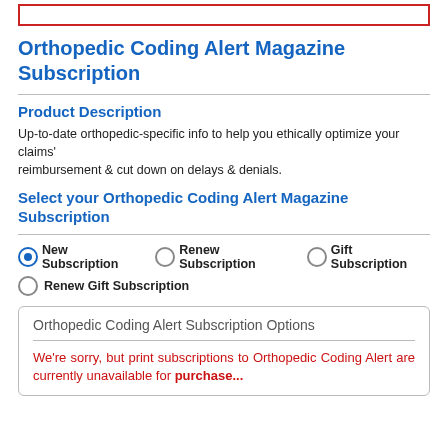Orthopedic Coding Alert Magazine Subscription
Product Description
Up-to-date orthopedic-specific info to help you ethically optimize your claims' reimbursement & cut down on delays & denials.
Select your Orthopedic Coding Alert Magazine Subscription
New Subscription
Renew Subscription
Gift Subscription
Renew Gift Subscription
Orthopedic Coding Alert Subscription Options
We're sorry, but print subscriptions to Orthopedic Coding Alert are currently unavailable for purchase.